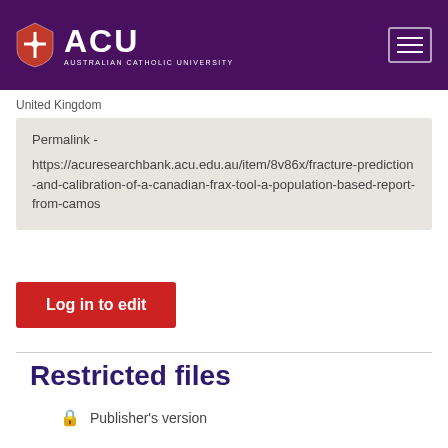[Figure (logo): ACU Australian Catholic University logo with shield icon on purple header background]
United Kingdom
Permalink - https://acuresearchbank.acu.edu.au/item/8v86x/fracture-prediction-and-calibration-of-a-canadian-frax-tool-a-population-based-report-from-camos
Log in to edit
Restricted files
Publisher's version